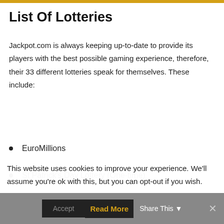List Of Lotteries
Jackpot.com is always keeping up-to-date to provide its players with the best possible gaming experience, therefore, their 33 different lotteries speak for themselves. These include:
EuroMillions
St Patrick's Day Lottery (One-time)
Mega Millions
Powerball
This website uses cookies to improve your experience. We'll assume you're ok with this, but you can opt-out if you wish.
Accept  Read More  Share This  ×